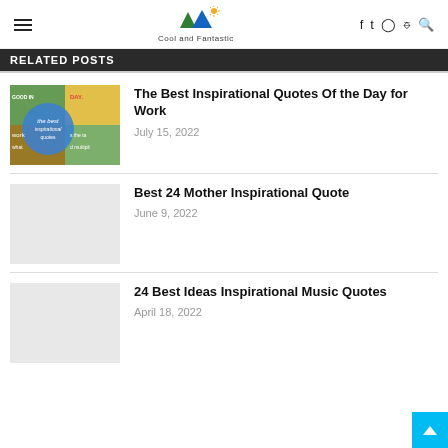Cool and Fantastic
RELATED POSTS
The Best Inspirational Quotes Of the Day for Work
July 15, 2022
Best 24 Mother Inspirational Quote
June 9, 2022
24 Best Ideas Inspirational Music Quotes
April 18, 2022